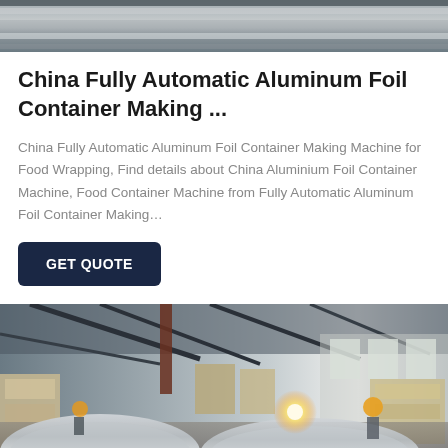[Figure (photo): Close-up photo of aluminum foil rolls in a manufacturing setting]
China Fully Automatic Aluminum Foil Container Making ...
China Fully Automatic Aluminum Foil Container Making Machine for Food Wrapping, Find details about China Aluminium Foil Container Machine, Food Container Machine from Fully Automatic Aluminum Foil Container Making…
GET QUOTE
[Figure (photo): Industrial warehouse interior with workers and large aluminum foil rolls, with bright light source visible in background]